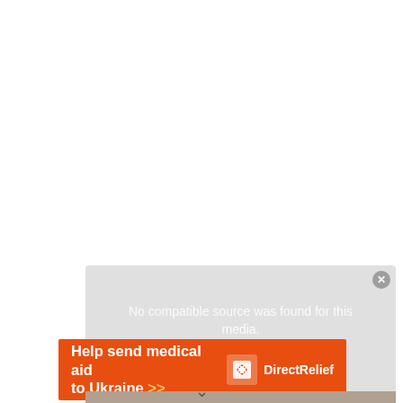[Figure (screenshot): A media player overlay showing 'No compatible source was found for this media.' message on a gray background with a close button, overlaid on a photo background.]
[Figure (infographic): Orange banner advertisement for Direct Relief: 'Help send medical aid to Ukraine >>' with Direct Relief logo on the right.]